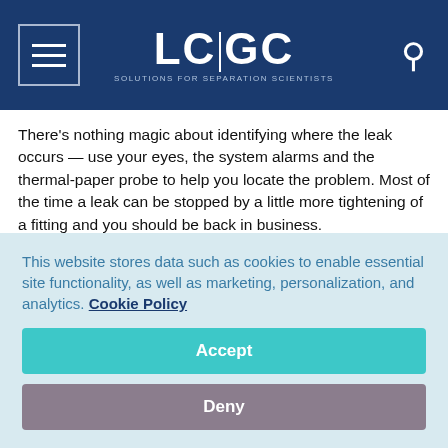LC|GC – Solutions for Separation Scientists
There's nothing magic about identifying where the leak occurs — use your eyes, the system alarms and the thermal-paper probe to help you locate the problem. Most of the time a leak can be stopped by a little more tightening of a fitting and you should be back in business.
"LC Troubleshooting" editor John W. Dolan is vice president of LC Resources, Walnut Creek, California, USA; and a member of the Editorial Advisory Board of LCGC Europe. Direct
This website stores data such as cookies to enable essential site functionality, as well as marketing, personalization, and analytics. Cookie Policy
Accept
Deny